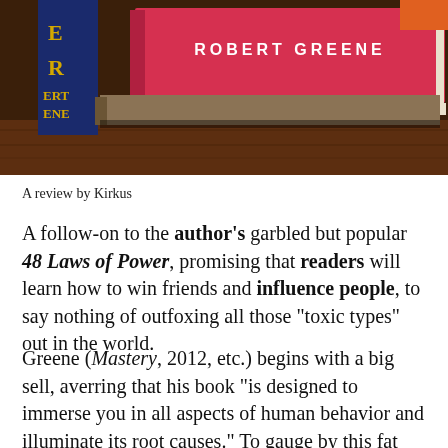[Figure (photo): Photo of stacked books by Robert Greene on a wooden shelf, with a pink/red book on top showing 'ROBERT GREENE' in white text, and dark blue spines visible on the left with partial text 'E', 'R', 'ERT', 'ENE']
A review by Kirkus
A follow-on to the author's garbled but popular 48 Laws of Power, promising that readers will learn how to win friends and influence people, to say nothing of outfoxing all those “toxic types” out in the world.
Greene (Mastery, 2012, etc.) begins with a big sell, averring that his book “is designed to immerse you in all aspects of human behavior and illuminate its root causes.” To gauge by this fat compendium, human behavior is mostly rotten, a